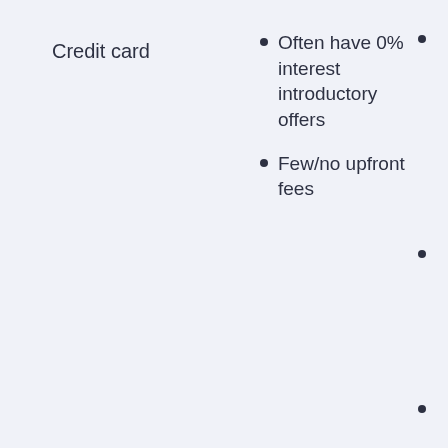Credit card
Often have 0% interest introductory offers
Few/no upfront fees